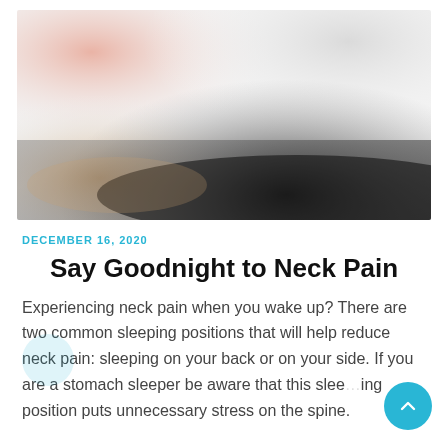[Figure (photo): Blurred abstract image showing a person sleeping, with skin tones and dark shadows on a white/grey background — header image for blog article about neck pain.]
DECEMBER 16, 2020
Say Goodnight to Neck Pain
Experiencing neck pain when you wake up? There are two common sleeping positions that will help reduce neck pain: sleeping on your back or on your side. If you are a stomach sleeper be aware that this sleeping position puts unnecessary stress on the spine.